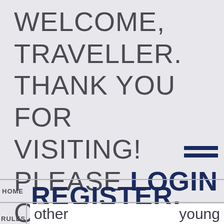WELCOME, TRAVELLER. THANK YOU FOR VISITING! PLEASE LOGIN OR REGISTER.
[Figure (other): Hamburger menu icon with three horizontal dark navy lines]
HOME
REGISTER.
RULES
other noblewomen young as she